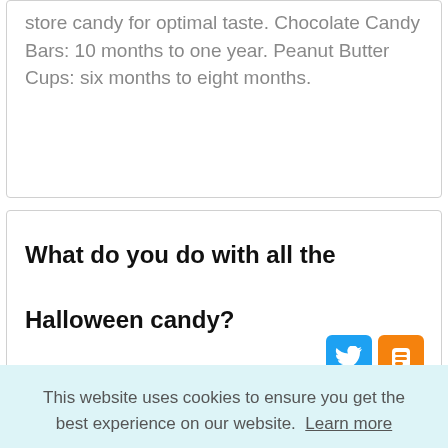store candy for optimal taste. Chocolate Candy Bars: 10 months to one year. Peanut Butter Cups: six months to eight months.
What do you do with all the Halloween candy?
[Figure (other): Twitter and Blogger social media share icons]
This website uses cookies to ensure you get the best experience on our website. Learn more
Got it!
Bark. Change up the consistency. Save it for